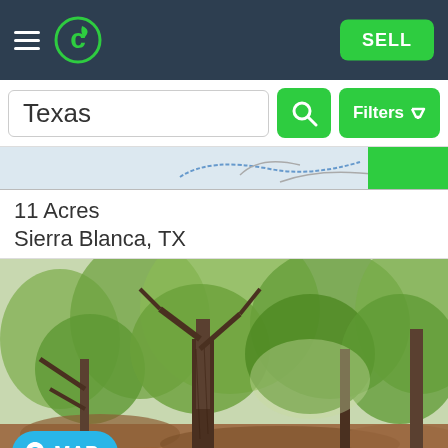Navigation bar with hamburger menu, logo, and SELL button
Texas
11 Acres
Sierra Blanca, TX
[Figure (photo): Woodland photo showing trees and fallen leaves on the ground, green foliage in background]
MAP